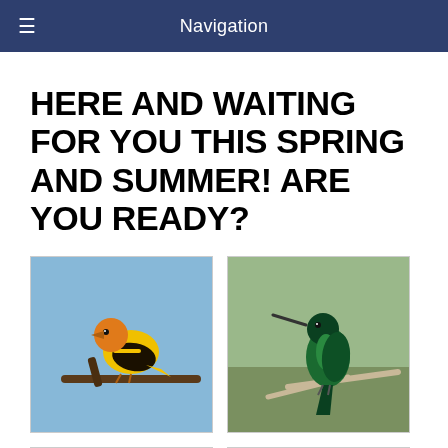Navigation
HERE AND WAITING FOR YOU THIS SPRING AND SUMMER! ARE YOU READY?
[Figure (photo): Yellow and black bird (Western Tanager or similar) perched on a branch against a blue sky background]
[Figure (photo): Green hummingbird perched on a white branch against a muted green/brown background]
[Figure (photo): Black and yellow bird perched on a branch, partially visible at bottom of page]
[Figure (photo): Bird feeder with wheel/spoke design, partially visible at bottom of page]